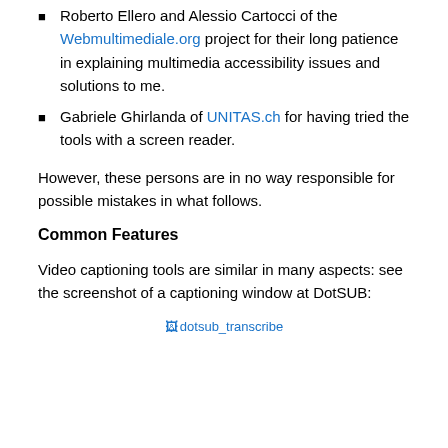Roberto Ellero and Alessio Cartocci of the Webmultimediale.org project for their long patience in explaining multimedia accessibility issues and solutions to me.
Gabriele Ghirlanda of UNITAS.ch for having tried the tools with a screen reader.
However, these persons are in no way responsible for possible mistakes in what follows.
Common Features
Video captioning tools are similar in many aspects: see the screenshot of a captioning window at DotSUB:
[Figure (screenshot): Broken image placeholder: dotsub_transcribe screenshot]